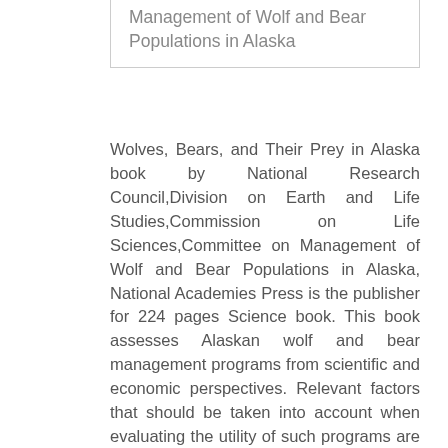Management of Wolf and Bear Populations in Alaska
Wolves, Bears, and Their Prey in Alaska book by National Research Council,Division on Earth and Life Studies,Commission on Life Sciences,Committee on Management of Wolf and Bear Populations in Alaska, National Academies Press is the publisher for 224 pages Science book. This book assesses Alaskan wolf and bear management programs from scientific and economic perspectives. Relevant factors that should be taken into account when evaluating the utility of such programs are identified. The